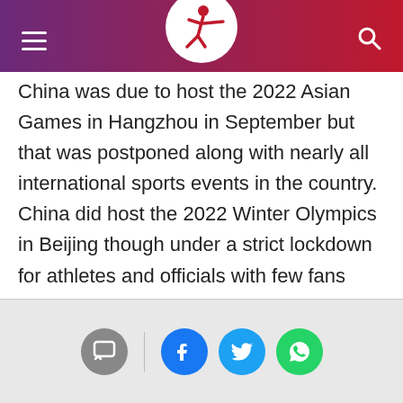Sports news website header with logo
China was due to host the 2022 Asian Games in Hangzhou in September but that was postponed along with nearly all international sports events in the country. China did host the 2022 Winter Olympics in Beijing though under a strict lockdown for athletes and officials with few fans able to attend.
Social share icons: comment, Facebook, Twitter, WhatsApp